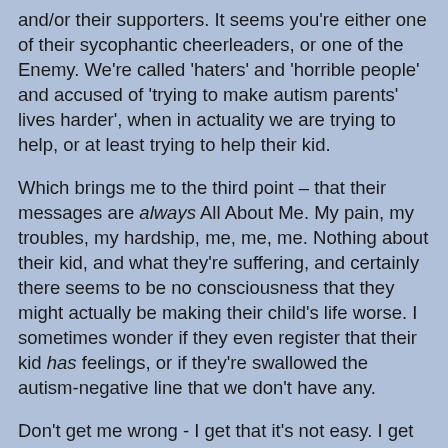and/or their supporters. It seems you're either one of their sycophantic cheerleaders, or one of the Enemy. We're called 'haters' and 'horrible people' and accused of 'trying to make autism parents' lives harder', when in actuality we are trying to help, or at least trying to help their kid.

Which brings me to the third point – that their messages are always All About Me. My pain, my troubles, my hardship, me, me, me. Nothing about their kid, and what they're suffering, and certainly there seems to be no consciousness that they might actually be making their child's life worse. I sometimes wonder if they even register that their kid has feelings, or if they're swallowed the autism-negative line that we don't have any.

Don't get me wrong - I get that it's not easy. I get that parents of autistic kids get stares and hostility and stupid comments from the public. I get that it can be awful when your kid has a meltdown in the supermarket and you don't know what to do, or that you spend a lot of your time making their food right, cleaning faeces off walls and floors, or trying to stop them eloping over the nearest wall. I also get that there's not enough or the wrong kind of 'help' from the Powers That Be...